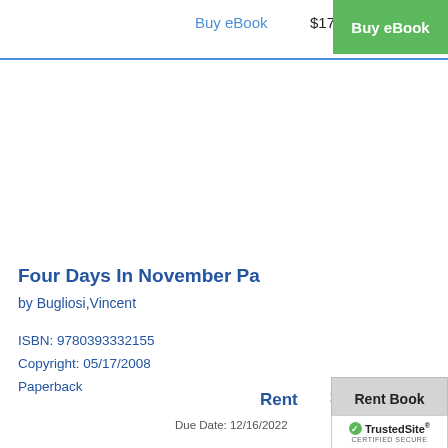Buy eBook   $17.94
[Figure (other): Green 'Buy eBook' button]
Four Days In November Pa
by Bugliosi,Vincent
ISBN: 9780393332155
Copyright: 05/17/2008
Paperback
Rent   $18.74
[Figure (other): Gray 'Rent Book' button]
Due Date: 12/16/2022
[Figure (other): TrustedSite CERTIFIED SECURE badge]